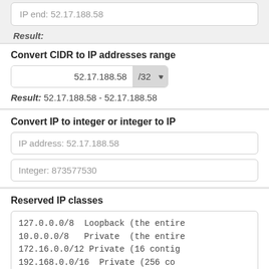IP end: 52.17.188.58
Result:
Convert CIDR to IP addresses range
52.17.188.58/32
Result: 52.17.188.58 - 52.17.188.58
Convert IP to integer or integer to IP
IP address: 52.17.188.58
Integer: 873577530
Reserved IP classes
127.0.0.0/8  Loopback (the entire
10.0.0.0/8   Private  (the entire
172.16.0.0/12 Private (16 contig
192.168.0.0/16  Private (256 co